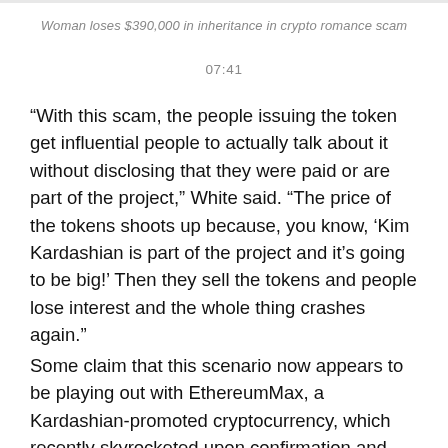Woman loses $390,000 in inheritance in crypto romance scam
07:41
“With this scam, the people issuing the token get influential people to actually talk about it without disclosing that they were paid or are part of the project,” White said. “The price of the tokens shoots up because, you know, ‘Kim Kardashian is part of the project and it’s going to be big!’ Then they sell the tokens and people lose interest and the whole thing crashes again.”
Some claim that this scenario now appears to be playing out with EthereumMax, a Kardashian-promoted cryptocurrency, which recently skyrocketed upon confirmation and then quickly